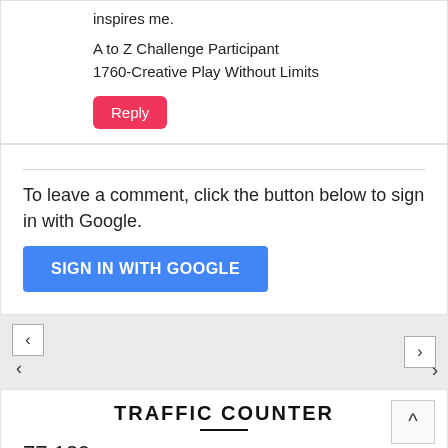inspires me.
A to Z Challenge Participant
1760-Creative Play Without Limits
Reply
To leave a comment, click the button below to sign in with Google.
SIGN IN WITH GOOGLE
‹
›
TRAFFIC COUNTER
77,129